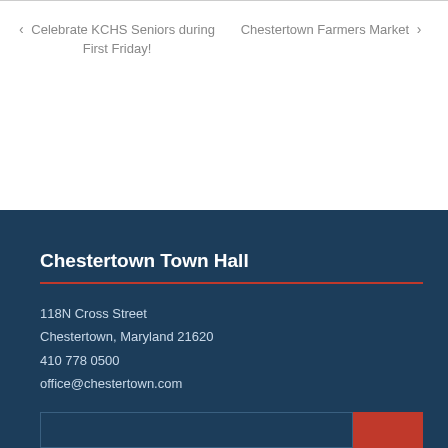‹ Celebrate KCHS Seniors during First Friday!
Chestertown Farmers Market ›
Chestertown Town Hall
118N Cross Street
Chestertown, Maryland 21620
410 778 0500
office@chestertown.com